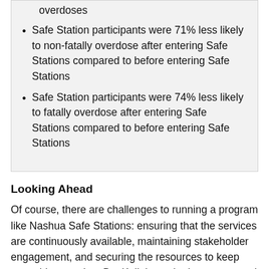overdoses
Safe Station participants were 71% less likely to non-fatally overdose after entering Safe Stations compared to before entering Safe Stations
Safe Station participants were 74% less likely to fatally overdose after entering Safe Stations compared to before entering Safe Stations
Looking Ahead
Of course, there are challenges to running a program like Nashua Safe Stations: ensuring that the services are continuously available, maintaining stakeholder engagement, and securing the resources to keep everything running. But Kelleher, who has a personal connection to the cause, says